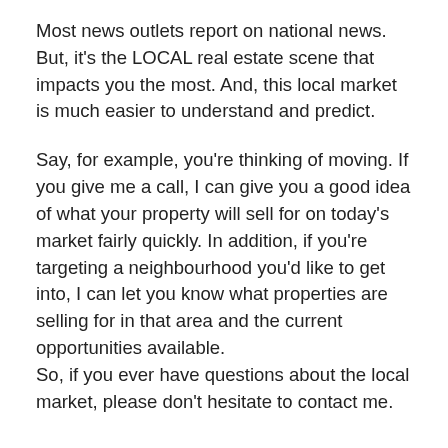Most news outlets report on national news. But, it's the LOCAL real estate scene that impacts you the most. And, this local market is much easier to understand and predict.
Say, for example, you're thinking of moving. If you give me a call, I can give you a good idea of what your property will sell for on today's market fairly quickly. In addition, if you're targeting a neighbourhood you'd like to get into, I can let you know what properties are selling for in that area and the current opportunities available. So, if you ever have questions about the local market, please don't hesitate to contact me.